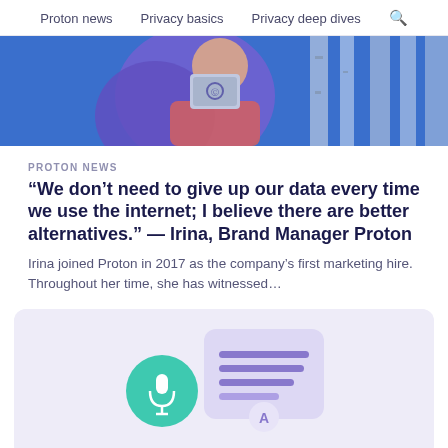Proton news   Privacy basics   Privacy deep dives   🔍
[Figure (photo): Partial photo of a person holding a laptop with a purple cape/cloth, standing in front of birch trees with a blue background.]
PROTON NEWS
“We don’t need to give up our data every time we use the internet; I believe there are better alternatives.” — Irina, Brand Manager Proton
Irina joined Proton in 2017 as the company’s first marketing hire. Throughout her time, she has witnessed…
[Figure (illustration): Illustration on light purple background showing a teal/green circle with a microphone icon, and a document/certificate card with purple horizontal lines, plus a letter A at the bottom.]